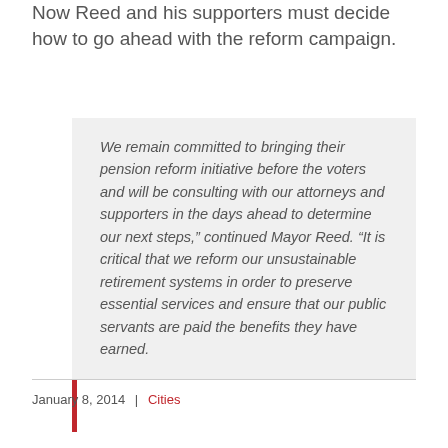Now Reed and his supporters must decide how to go ahead with the reform campaign.
We remain committed to bringing their pension reform initiative before the voters and will be consulting with our attorneys and supporters in the days ahead to determine our next steps,” continued Mayor Reed. “It is critical that we reform our unsustainable retirement systems in order to preserve essential services and ensure that our public servants are paid the benefits they have earned.
January 8, 2014 | Cities